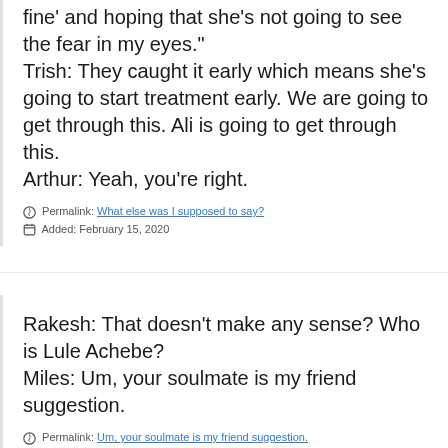fine' and hoping that she's not going to see the fear in my eyes." Trish: They caught it early which means she's going to start treatment early. We are going to get through this. Ali is going to get through this. Arthur: Yeah, you're right.
Permalink: What else was I supposed to say?
Added: February 15, 2020
Rakesh: That doesn't make any sense? Who is Lule Achebe? Miles: Um, your soulmate is my friend suggestion.
Permalink: Um, your soulmate is my friend suggestion.
Added: February 15, 2020